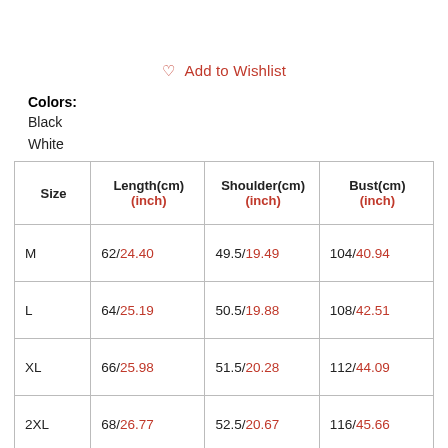♡  Add to Wishlist
Colors:
Black
White
| Size | Length(cm)
(inch) | Shoulder(cm)
(inch) | Bust(cm)
(inch) |
| --- | --- | --- | --- |
| M | 62/24.40 | 49.5/19.49 | 104/40.94 |
| L | 64/25.19 | 50.5/19.88 | 108/42.51 |
| XL | 66/25.98 | 51.5/20.28 | 112/44.09 |
| 2XL | 68/26.77 | 52.5/20.67 | 116/45.66 |
| 3XL | 70/27.55 | 53.5/21.06 | 120/47.24 |